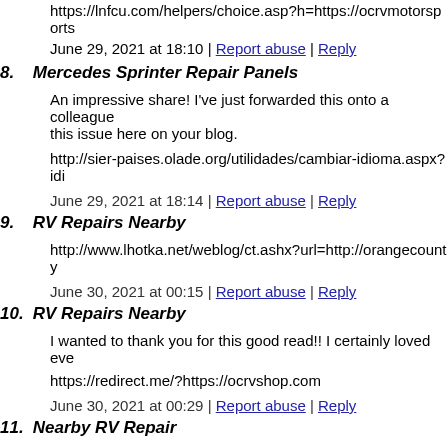https://lnfcu.com/helpers/choice.asp?h=https://ocrvmotorsports
June 29, 2021 at 18:10 | Report abuse | Reply
8. Mercedes Sprinter Repair Panels
An impressive share! I've just forwarded this onto a colleague this issue here on your blog.
http://sier-paises.olade.org/utilidades/cambiar-idioma.aspx?idi
June 29, 2021 at 18:14 | Report abuse | Reply
9. RV Repairs Nearby
http://www.lhotka.net/weblog/ct.ashx?url=http://orangecounty
June 30, 2021 at 00:15 | Report abuse | Reply
10. RV Repairs Nearby
I wanted to thank you for this good read!! I certainly loved eve
https://redirect.me/?https://ocrvshop.com
June 30, 2021 at 00:29 | Report abuse | Reply
11. Nearby RV Repair
http://register.scotland.org/Subscribe/WidgetSignup?url=https: